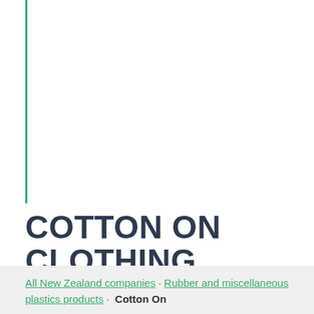COTTON ON CLOTHING
All New Zealand companies · Rubber and miscellaneous plastics products · Cotton On